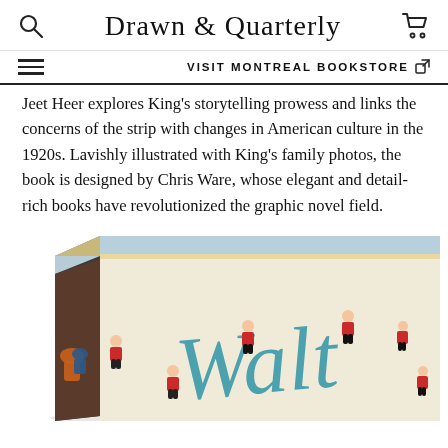Drawn & Quarterly
VISIT MONTREAL BOOKSTORE
Jeet Heer explores King's storytelling prowess and links the concerns of the strip with changes in American culture in the 1920s. Lavishly illustrated with King's family photos, the book is designed by Chris Ware, whose elegant and detail-rich books have revolutionized the graphic novel field.
[Figure (photo): A photograph of a large hardcover book shown at an angle, displaying the spine and front cover. The cover shows illustrated characters of children in red and black outfits and the beginning of a stylized title text in teal/blue lettering.]